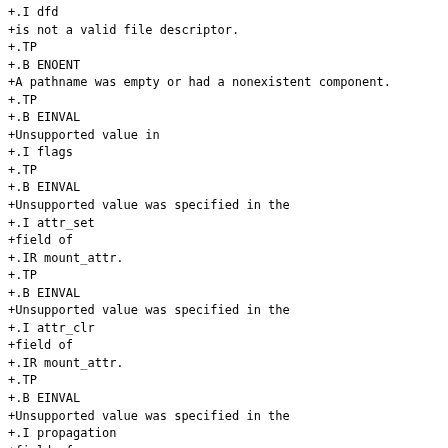+.I dfd
+is not a valid file descriptor.
+.TP
+.B ENOENT
+A pathname was empty or had a nonexistent component.
+.TP
+.B EINVAL
+Unsupported value in
+.I flags
+.TP
+.B EINVAL
+Unsupported value was specified in the
+.I attr_set
+field of
+.IR mount_attr.
+.TP
+.B EINVAL
+Unsupported value was specified in the
+.I attr_clr
+field of
+.IR mount_attr.
+.TP
+.B EINVAL
+Unsupported value was specified in the
+.I propagation
+field of
+.IR mount_attr.
+.TP
+.B EINVAL
+Unsupported value was specified in the